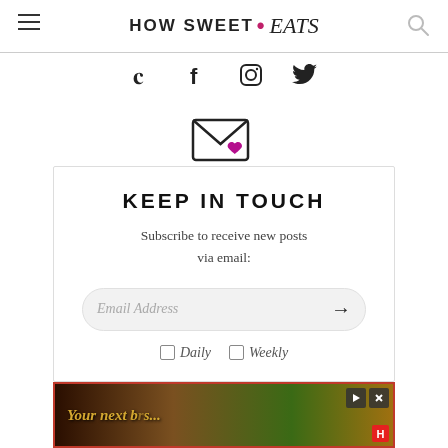HOW SWEET • eats
[Figure (other): Social media icons row: Pinterest, Facebook, Instagram, Twitter]
[Figure (other): Email envelope icon with purple heart, Keep in Touch subscription box with email input field, Daily and Weekly checkbox options]
[Figure (other): Advertisement banner at bottom with red border, dark nature background, text partially visible: 'Your next b... s...', with play/close controls and red H logo]